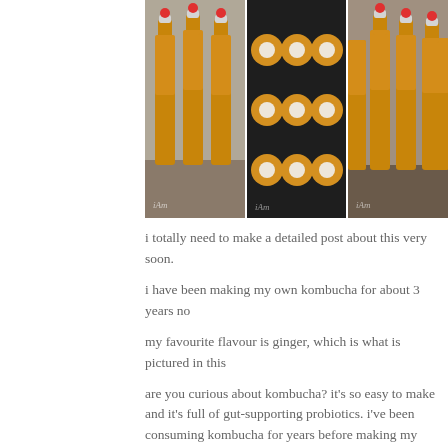[Figure (photo): Three side-by-side photos of amber-colored kombucha in swing-top glass bottles. Left photo: three tall bottles standing upright on a wooden surface. Middle photo: nine bottles laid flat in a grid pattern viewed from above on a dark background. Right photo: several bottles standing upright, partially cropped. Each photo has a small 'iAm' watermark in the lower left corner.]
i totally need to make a detailed post about this very soon.
i have been making my own kombucha for about 3 years no
my favourite flavour is ginger, which is what is pictured in this
are you curious about kombucha? it's so easy to make and it's full of gut-supporting probiotics. i've been consuming kombucha for years before making my own.
stay tuned, and i'll post more about my scoby [lovingly nam brewing kombucha at home 🙂